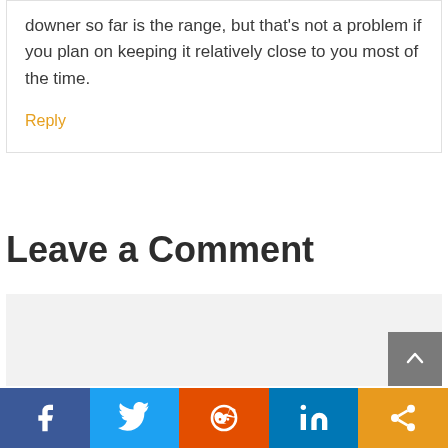downer so far is the range, but that's not a problem if you plan on keeping it relatively close to you most of the time.
Reply
Leave a Comment
[Figure (screenshot): Comment input text area (empty, light gray background)]
[Figure (infographic): Social sharing bar with Facebook, Twitter, Reddit, LinkedIn, and Share buttons]